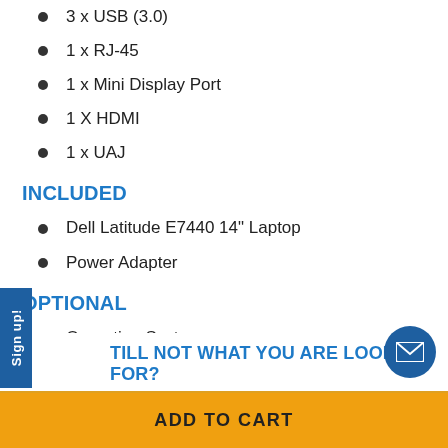3 x USB (3.0)
1 x RJ-45
1 x Mini Display Port
1 X HDMI
1 x UAJ
INCLUDED
Dell Latitude E7440 14" Laptop
Power Adapter
OPTIONAL
Operating System
STILL NOT WHAT YOU ARE LOOKING FOR?
ADD TO CART